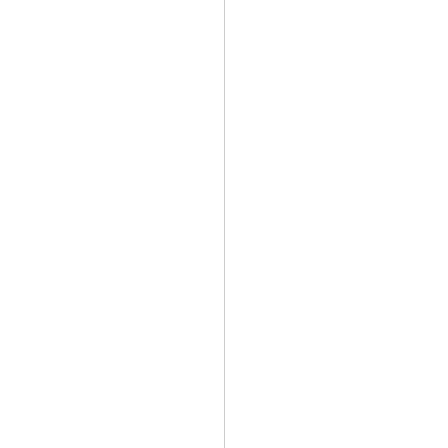12 | Tags : Facebook . Rep . Davi